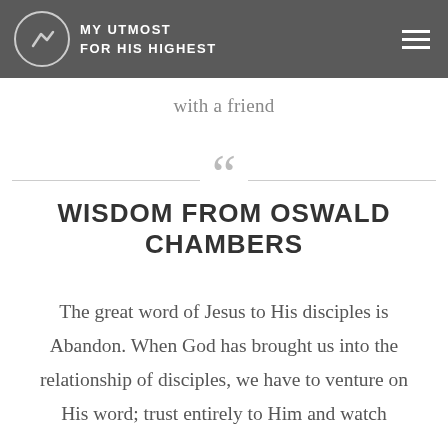MY UTMOST FOR HIS HIGHEST
with a friend
WISDOM FROM OSWALD CHAMBERS
The great word of Jesus to His disciples is Abandon. When God has brought us into the relationship of disciples, we have to venture on His word; trust entirely to Him and watch